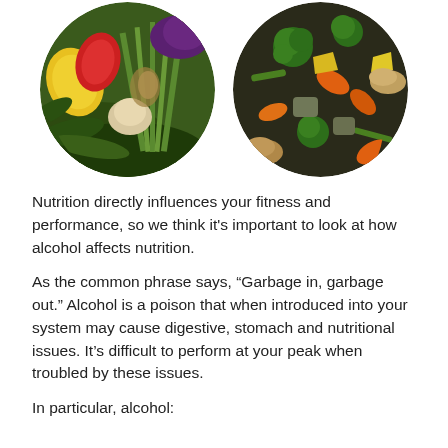[Figure (photo): Two circular images side by side: left shows raw fresh vegetables including peppers, garlic, asparagus, and leafy greens; right shows a colorful mix of cooked/roasted vegetables including broccoli, carrots, green beans, and mushrooms.]
Nutrition directly influences your fitness and performance, so we think it's important to look at how alcohol affects nutrition.
As the common phrase says, “Garbage in, garbage out.”  Alcohol is a poison that when introduced into your system may cause digestive, stomach and nutritional issues.  It’s difficult to perform at your peak when troubled by these issues.
In particular, alcohol: